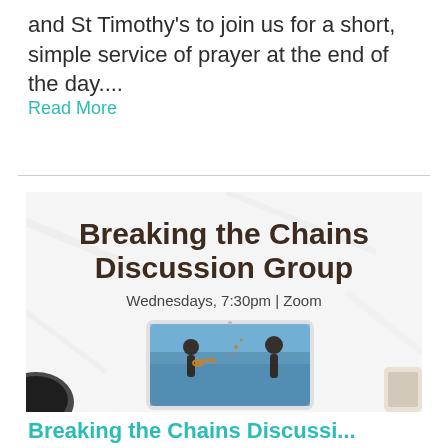and St Timothy's to join us for a short, simple service of prayer at the end of the day....
Read More
[Figure (illustration): Promotional image for 'Breaking the Chains Discussion Group' showing a marble background with bold brown text title, subtitle text 'Wednesdays, 7:30pm | Zoom', and a tablet device displaying silhouettes of two people breaking chains against a blue sky background.]
Breaking the Chains Discussi...